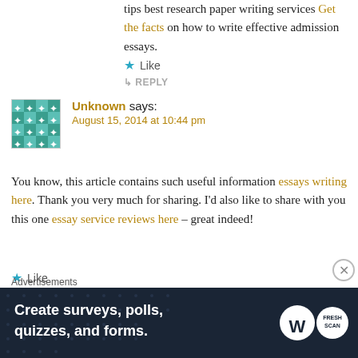tips best research paper writing services Get the facts on how to write effective admission essays.
Like
↳ REPLY
Unknown says: August 15, 2014 at 10:44 pm
You know, this article contains such useful information essays writing here. Thank you very much for sharing. I'd also like to share with you this one essay service reviews here – great indeed!
Like
↳ REPLY
Advertisements
[Figure (screenshot): Dark advertisement banner: 'Create surveys, polls, quizzes, and forms.' with WordPress and SurveyMonkey logos]